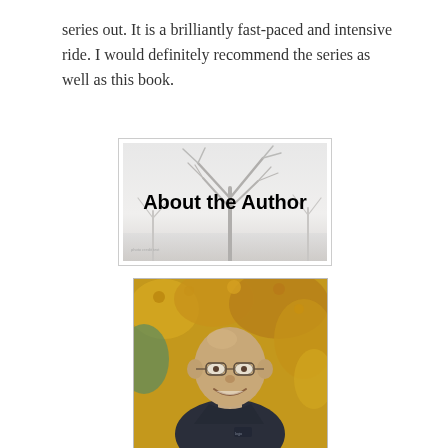series out. It is a brilliantly fast-paced and intensive ride. I would definitely recommend the series as well as this book.
[Figure (illustration): Banner image with a wintery tree sketch in grayscale with bold text 'About the Author' overlaid in the center]
[Figure (photo): Portrait photo of a bald, smiling middle-aged man wearing glasses and a dark fleece jacket, with autumn foliage in the background]